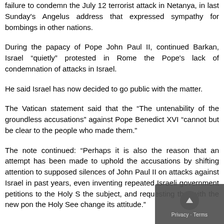failure to condemn the July 12 terrorist attack in Netanya, in last Sunday's Angelus address that expressed sympathy for bombings in other nations.
During the papacy of Pope John Paul II, continued Barkan, Israel "quietly" protested in Rome the Pope's lack of condemnation of attacks in Israel.
He said Israel has now decided to go public with the matter.
The Vatican statement said that the “The untenability of the groundless accusations” against Pope Benedict XVI “cannot but be clear to the people who made them.”
The note continued: “Perhaps it is also the reason that an attempt has been made to uphold the accusations by shifting attention to supposed silences of John Paul II on attacks against Israel in past years, even inventing repeated Israeli government petitions to the Holy S the subject, and requesting that with the new pon the Holy See change its attitude.”